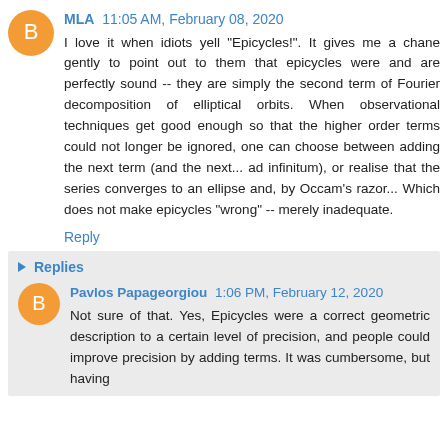MLA  11:05 AM, February 08, 2020
I love it when idiots yell "Epicycles!". It gives me a chane gently to point out to them that epicycles were and are perfectly sound -- they are simply the second term of Fourier decomposition of elliptical orbits. When observational techniques get good enough so that the higher order terms could not longer be ignored, one can choose between adding the next term (and the next... ad infinitum), or realise that the series converges to an ellipse and, by Occam's razor... Which does not make epicycles "wrong" -- merely inadequate.
Reply
Replies
Pavlos Papageorgiou  1:06 PM, February 12, 2020
Not sure of that. Yes, Epicycles were a correct geometric description to a certain level of precision, and people could improve precision by adding terms. It was cumbersome, but having